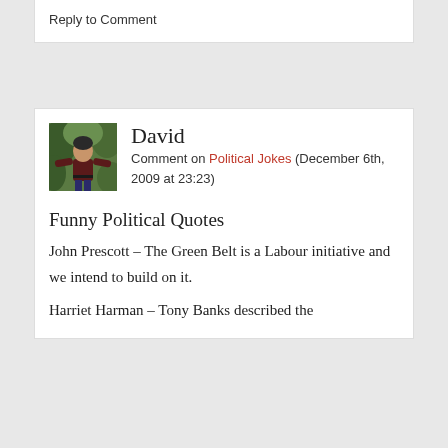Reply to Comment
David
[Figure (photo): Avatar photo of David, a man in a dark red/maroon sweater standing outdoors with greenery in background, arms outstretched]
Comment on Political Jokes (December 6th, 2009 at 23:23)
Funny Political Quotes
John Prescott – The Green Belt is a Labour initiative and we intend to build on it.
Harriet Harman – Tony Banks described the